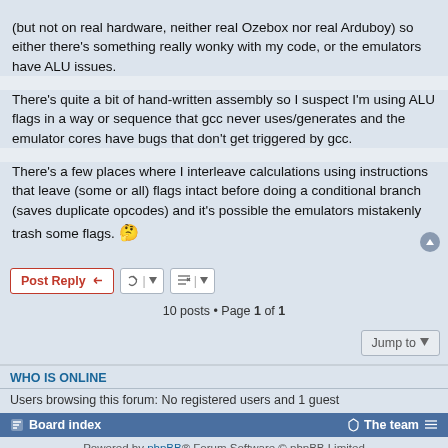(but not on real hardware, neither real Ozebox nor real Arduboy) so either there's something really wonky with my code, or the emulators have ALU issues.
There's quite a bit of hand-written assembly so I suspect I'm using ALU flags in a way or sequence that gcc never uses/generates and the emulator cores have bugs that don't get triggered by gcc.
There's a few places where I interleave calculations using instructions that leave (some or all) flags intact before doing a conditional branch (saves duplicate opcodes) and it's possible the emulators mistakenly trash some flags. 🤔
10 posts • Page 1 of 1
WHO IS ONLINE
Users browsing this forum: No registered users and 1 guest
Board index   The team   Powered by phpBB® Forum Software © phpBB Limited